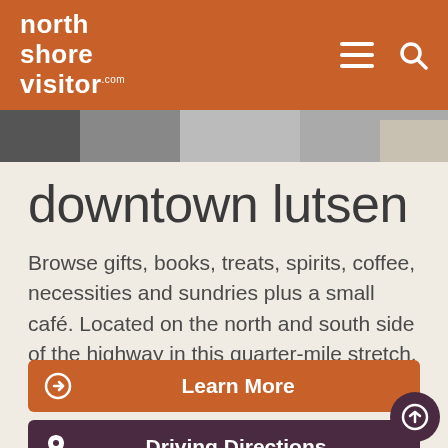north shore visitor .com
[Figure (photo): Partial scenic/outdoor photo strip at top of content area]
downtown lutsen
Browse gifts, books, treats, spirits, coffee, necessities and sundries plus a small café. Located on the north and south side of the highway in this quarter-mile stretch.
Learn More
Driving Directions